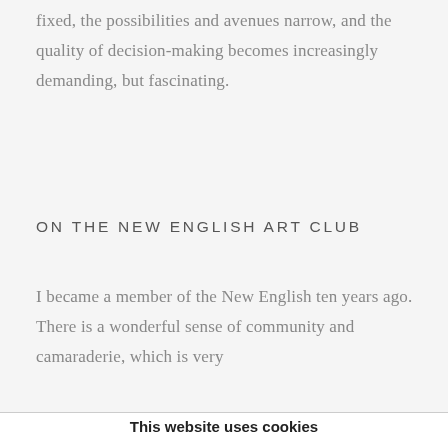fixed, the possibilities and avenues narrow, and the quality of decision-making becomes increasingly demanding, but fascinating.
ON THE NEW ENGLISH ART CLUB
I became a member of the New English ten years ago. There is a wonderful sense of community and camaraderie, which is very
This website uses cookies
This site uses cookies to help make it more useful to you. Find out more about cookies.
MANAGE COOKIES
ACCEPT